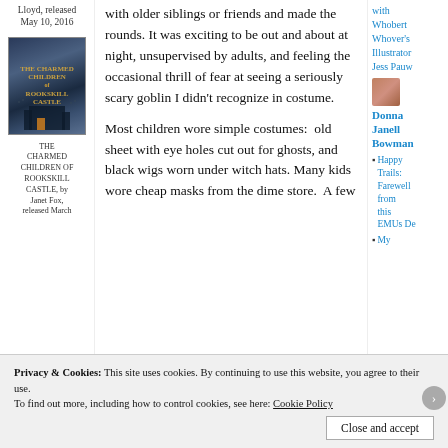Lloyd, released May 10, 2016
[Figure (illustration): Book cover for THE CHARMED CHILDREN OF ROOKSKILL CASTLE — dark castle scene with birds and atmospheric lighting]
THE CHARMED CHILDREN OF ROOKSKILL CASTLE, by Janet Fox, released March
with older siblings or friends and made the rounds. It was exciting to be out and about at night, unsupervised by adults, and feeling the occasional thrill of fear at seeing a seriously scary goblin I didn't recognize in costume.
Most children wore simple costumes:  old sheet with eye holes cut out for ghosts, and black wigs worn under witch hats. Many kids wore cheap masks from the dime store.  A few
with Whobert Whover's Illustrator Jess Pauw
Donna Janell Bowman
Happy Trails: Farewell from this EMUs De
My
Privacy & Cookies: This site uses cookies. By continuing to use this website, you agree to their use.
To find out more, including how to control cookies, see here: Cookie Policy